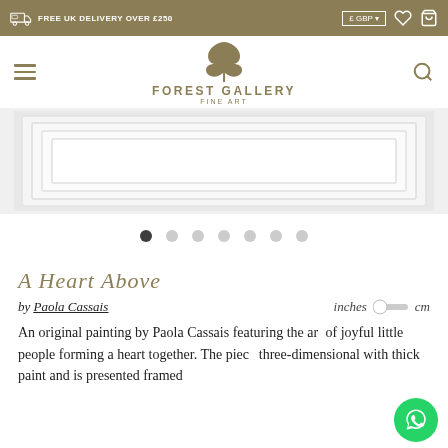FREE UK DELIVERY OVER £250
[Figure (logo): Forest Gallery Fine Art logo with stylized tree/cloud shape above the text]
[Figure (photo): Artwork image area showing a framed painting with white frame visible]
[Figure (other): Carousel dots — 7 dots, first dot filled/active, remaining 6 light grey]
A Heart Above
by Paola Cassais    inches  cm
An original painting by Paola Cassais featuring the art of joyful little people forming a heart together. The piece is three-dimensional with thick paint and is presented framed